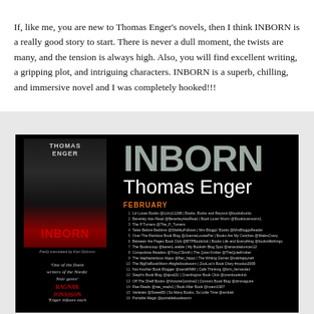If, like me, you are new to Thomas Enger's novels, then I think INBORN is a really good story to start. There is never a dull moment, the twists are many, and the tension is always high. Also, you will find excellent writing, a gripping plot, and intriguing characters. INBORN is a superb, chilling, and immersive novel and I was completely hooked!!!
[Figure (illustration): Book promotional image for INBORN by Thomas Enger on black background. Left side shows the book cover with author name THOMAS ENGER at top, moody dark cover art with red at bottom showing INBORN in red text, followed by quotes from Ragnar Jonasson and another reviewer. Right side shows large grey text INBORN, white text Thomas Enger, orange FEBRUARY label, and numbered blog tour list for February dates 1-16.]